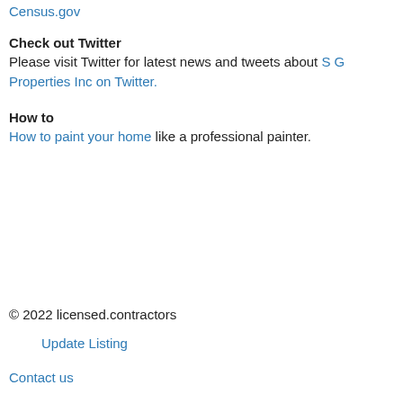Census.gov
Check out Twitter
Please visit Twitter for latest news and tweets about S G Properties Inc on Twitter.
How to
How to paint your home like a professional painter.
© 2022 licensed.contractors
Update Listing
Contact us